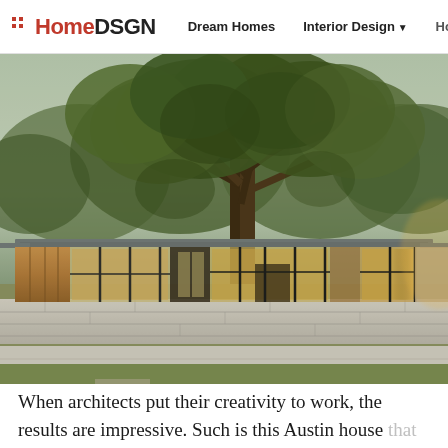HomeDSGN  Dream Homes  Interior Design  Hou
[Figure (photo): Exterior of a mid-century modern house in Austin with large glass walls, wooden panels, stone retaining walls, and a large oak tree in the foreground at dusk]
When architects put their creativity to work, the results are impressive. Such is this Austin house that was built in 1956 and redone in 2018.